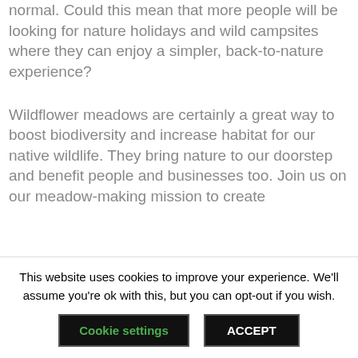normal. Could this mean that more people will be looking for nature holidays and wild campsites where they can enjoy a simpler, back-to-nature experience?
Wildflower meadows are certainly a great way to boost biodiversity and increase habitat for our native wildlife. They bring nature to our doorstep and benefit people and businesses too. Join us on our meadow-making mission to create…
This website uses cookies to improve your experience. We'll assume you're ok with this, but you can opt-out if you wish.